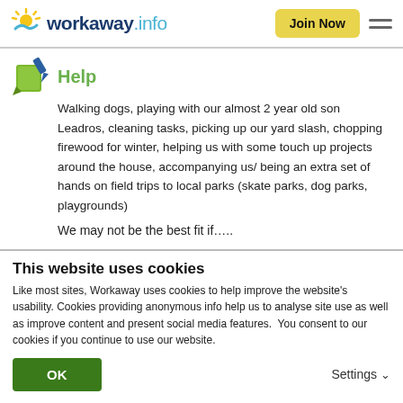workaway.info | Join Now
Help
Walking dogs, playing with our almost 2 year old son Leadros, cleaning tasks, picking up our yard slash, chopping firewood for winter, helping us with some touch up projects around the house, accompanying us/ being an extra set of hands on field trips to local parks (skate parks, dog parks, playgrounds)
We may not be the best fit if…..
This website uses cookies
Like most sites, Workaway uses cookies to help improve the website's usability. Cookies providing anonymous info help us to analyse site use as well as improve content and present social media features.  You consent to our cookies if you continue to use our website.
OK
Settings